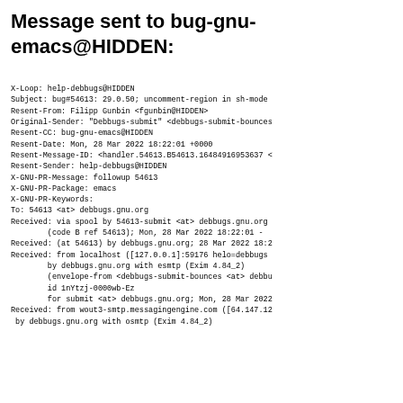Message sent to bug-gnu-emacs@HIDDEN:
X-Loop: help-debbugs@HIDDEN
Subject: bug#54613: 29.0.50; uncomment-region in sh-mode
Resent-From: Filipp Gunbin <fgunbin@HIDDEN>
Original-Sender: "Debbugs-submit" <debbugs-submit-bounces
Resent-CC: bug-gnu-emacs@HIDDEN
Resent-Date: Mon, 28 Mar 2022 18:22:01 +0000
Resent-Message-ID: <handler.54613.B54613.16484916953637 <
Resent-Sender: help-debbugs@HIDDEN
X-GNU-PR-Message: followup 54613
X-GNU-PR-Package: emacs
X-GNU-PR-Keywords:
To: 54613 <at> debbugs.gnu.org
Received: via spool by 54613-submit <at> debbugs.gnu.org
        (code B ref 54613); Mon, 28 Mar 2022 18:22:01 -
Received: (at 54613) by debbugs.gnu.org; 28 Mar 2022 18:2
Received: from localhost ([127.0.0.1]:59176 helo=debbugs
        by debbugs.gnu.org with esmtp (Exim 4.84_2)
        (envelope-from <debbugs-submit-bounces <at> debbu
        id 1nYtzj-0000wb-Ez
        for submit <at> debbugs.gnu.org; Mon, 28 Mar 2022
Received: from wout3-smtp.messagingengine.com ([64.147.12
 by debbugs.gnu.org with osmtp (Exim 4.84_2)